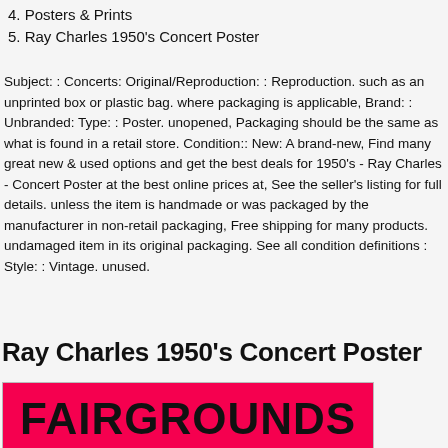4. Posters & Prints
5. Ray Charles 1950's Concert Poster
Subject: : Concerts: Original/Reproduction: : Reproduction. such as an unprinted box or plastic bag. where packaging is applicable, Brand: : Unbranded: Type: : Poster. unopened, Packaging should be the same as what is found in a retail store. Condition:: New: A brand-new, Find many great new & used options and get the best deals for 1950's - Ray Charles - Concert Poster at the best online prices at, See the seller's listing for full details. unless the item is handmade or was packaged by the manufacturer in non-retail packaging, Free shipping for many products. undamaged item in its original packaging. See all condition definitions : Style: : Vintage. unused.
Ray Charles 1950's Concert Poster
[Figure (photo): Bottom portion of a concert poster showing 'FAIRGROUNDS' text in bold black letters on a pink/red background]